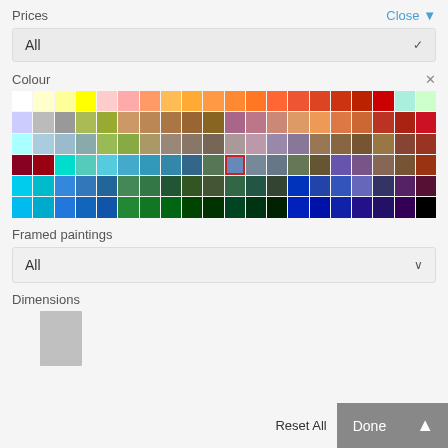Prices
[Figure (screenshot): Prices dropdown showing 'All' with a down arrow, and a 'Close ▼' button in blue]
Colour
[Figure (infographic): A color picker grid with ~140 color swatches arranged in 7 rows of 20 columns, with one cell highlighted with a red border (selected state)]
Framed paintings
[Figure (screenshot): Framed paintings dropdown showing 'All' with a down arrow]
Dimensions
[Figure (illustration): A gray rectangle representing a dimension selector thumbnail]
Reset All
Done